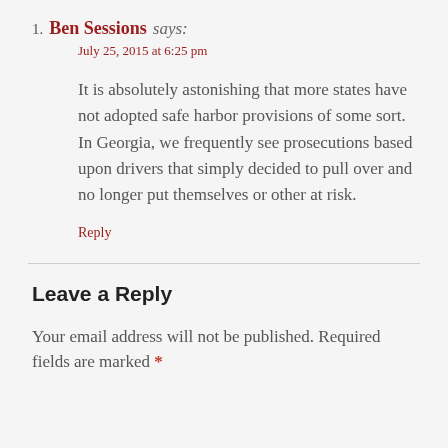Ben Sessions says:
July 25, 2015 at 6:25 pm

It is absolutely astonishing that more states have not adopted safe harbor provisions of some sort. In Georgia, we frequently see prosecutions based upon drivers that simply decided to pull over and no longer put themselves or other at risk.

Reply
Leave a Reply
Your email address will not be published. Required fields are marked *